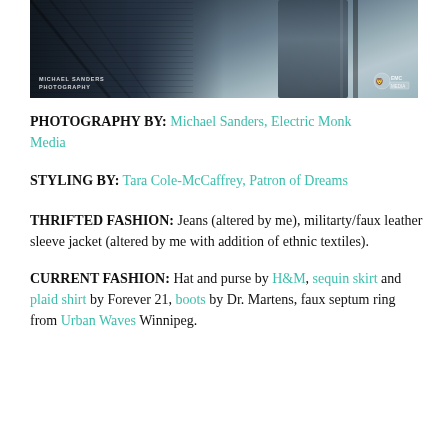[Figure (photo): Fashion photo of a person on a fire escape/metal staircase structure, viewed from below at an angle. The person is wearing dark jeans and a patterned/sequin jacket. The background shows a building facade. Photo credit watermark reads 'MICHAEL SANDERS PHOTOGRAPHY' in lower left, and Electric Monk Media logo in lower right.]
PHOTOGRAPHY BY: Michael Sanders, Electric Monk Media
STYLING BY: Tara Cole-McCaffrey, Patron of Dreams
THRIFTED FASHION: Jeans (altered by me), militarty/faux leather sleeve jacket (altered by me with addition of ethnic textiles).
CURRENT FASHION: Hat and purse by H&M, sequin skirt and plaid shirt by Forever 21, boots by Dr. Martens, faux septum ring from Urban Waves Winnipeg.